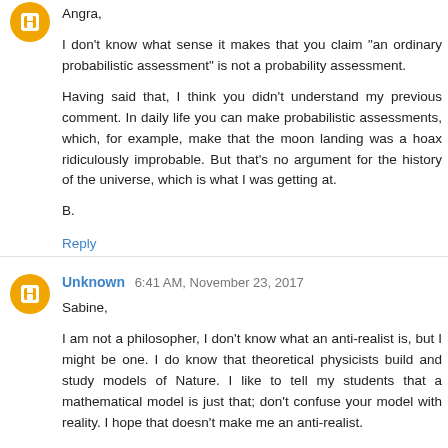[Figure (illustration): Orange circular avatar with blogger B icon for first commenter]
Angra,

I don't know what sense it makes that you claim "an ordinary probabilistic assessment" is not a probability assessment.

Having said that, I think you didn't understand my previous comment. In daily life you can make probabilistic assessments, which, for example, make that the moon landing was a hoax ridiculously improbable. But that's no argument for the history of the universe, which is what I was getting at.

B.

Reply
[Figure (illustration): Orange circular avatar with blogger B icon for Unknown commenter]
Unknown  6:41 AM, November 23, 2017

Sabine,

I am not a philosopher, I don't know what an anti-realist is, but I might be one. I do know that theoretical physicists build and study models of Nature. I like to tell my students that a mathematical model is just that; don't confuse your model with reality. I hope that doesn't make me an anti-realist.

Some models are more useful than others and some are more...